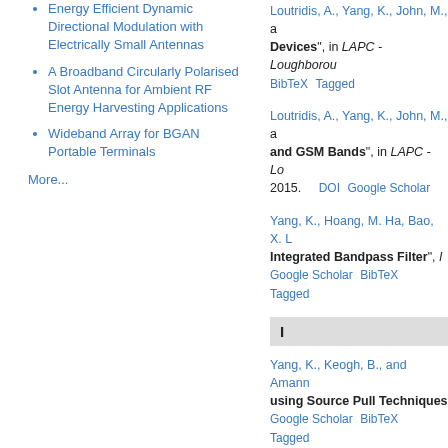Energy Efficient Dynamic Directional Modulation with Electrically Small Antennas
A Broadband Circularly Polarised Slot Antenna for Ambient RF Energy Harvesting Applications
Wideband Array for BGAN Portable Terminals
More...
Loutridis, A., Yang, K., John, M., ... "Devices", in LAPC - Loughborou...  BibTeX  Tagged
Loutridis, A., Yang, K., John, M., ... and GSM Bands", in LAPC - Lo... 2015.  DOI  Google Scholar
Yang, K., Hoang, M. Ha, Bao, X. ... "Integrated Bandpass Filter", ...  Google Scholar  BibTeX  Tagged
I
Yang, K., Keogh, B., and Amann... using Source Pull Techniques...  Google Scholar  BibTeX  Tagged
K
Hoang, M. Ha, Yang, K., John, M...